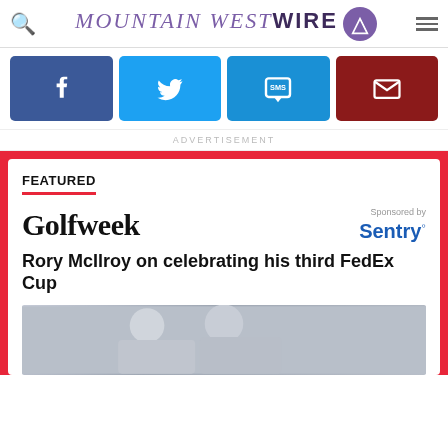Mountain West Wire
[Figure (infographic): Social sharing buttons: Facebook, Twitter, SMS, Email]
ADVERTISEMENT
FEATURED
[Figure (logo): Golfweek logo]
Sponsored by Sentry
Rory McIlroy on celebrating his third FedEx Cup
[Figure (photo): Photo of Rory McIlroy celebrating]